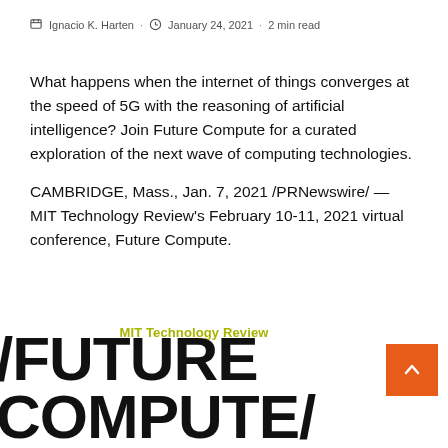Ignacio K. Harten · January 24, 2021 · 2 min read
What happens when the internet of things converges at the speed of 5G with the reasoning of artificial intelligence? Join Future Compute for a curated exploration of the next wave of computing technologies.
CAMBRIDGE, Mass., Jan. 7, 2021 /PRNewswire/ — MIT Technology Review's February 10-11, 2021 virtual conference, Future Compute.
[Figure (logo): MIT Technology Review / FUTURE COMPUTE / logo with orange scroll button]